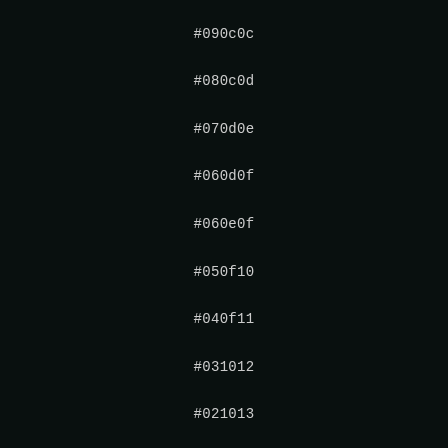#090c0c
#080c0d
#070d0e
#060d0f
#060e0f
#050f10
#040f11
#031012
#021013